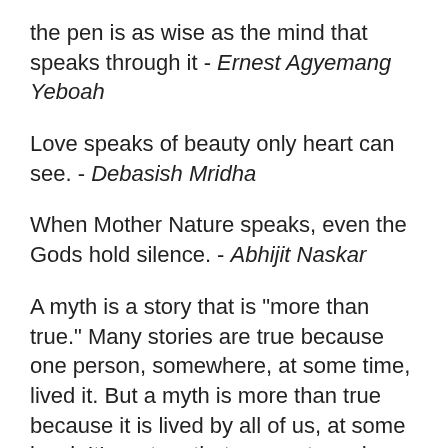the pen is as wise as the mind that speaks through it - Ernest Agyemang Yeboah
Love speaks of beauty only heart can see. - Debasish Mridha
When Mother Nature speaks, even the Gods hold silence. - Abhijit Naskar
A myth is a story that is "more than true." Many stories are true because one person, somewhere, at some time, lived it. But a myth is more than true because it is lived by all of us, at some level. It's a story that connects and speaks to us all. - Lisa Seger
If you have to tell them you are, you're